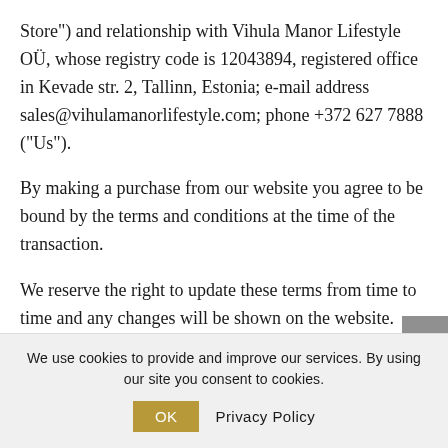Store") and relationship with Vihula Manor Lifestyle OÜ, whose registry code is 12043894, registered office in Kevade str. 2, Tallinn, Estonia; e-mail address sales@vihulamanorlifestyle.com; phone +372 627 7888 ("Us").
By making a purchase from our website you agree to be bound by the terms and conditions at the time of the transaction.
We reserve the right to update these terms from time to time and any changes will be shown on the website.
Products
We use cookies to provide and improve our services. By using our site you consent to cookies.